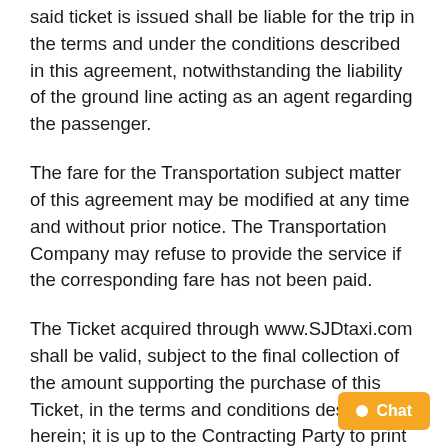said ticket is issued shall be liable for the trip in the terms and under the conditions described in this agreement, notwithstanding the liability of the ground line acting as an agent regarding the passenger.
The fare for the Transportation subject matter of this agreement may be modified at any time and without prior notice. The Transportation Company may refuse to provide the service if the corresponding fare has not been paid.
The Ticket acquired through www.SJDtaxi.com shall be valid, subject to the final collection of the amount supporting the purchase of this Ticket, in the terms and conditions described herein; it is up to the Contracting Party to print the transaction receipt to present at the ground port.
The Transportation Company reserves the right to